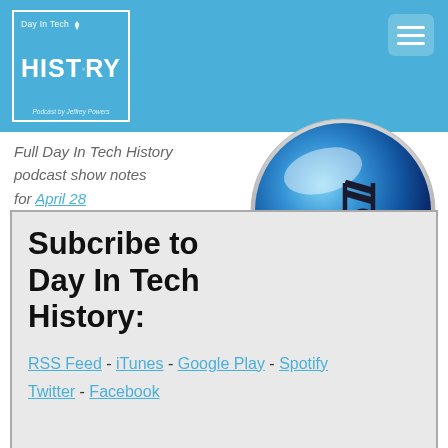[Figure (logo): Day In Tech History podcast logo - blue square with white border, showing 'Day In Tech' small text with wifi icon, large 'HISTORY' text with monitor icon replacing the O, and 'Podcast by Jeffrey Powers' at bottom]
[Figure (logo): iTunes app icon - blue glossy sphere with musical note (eighth note pair) in dark color]
Full Day In Tech History podcast show notes for April 28
iTunes
Subcribe to Day In Tech History:
RSS Feed - iTunes - Google Play - Spotify Twitter - Facebook